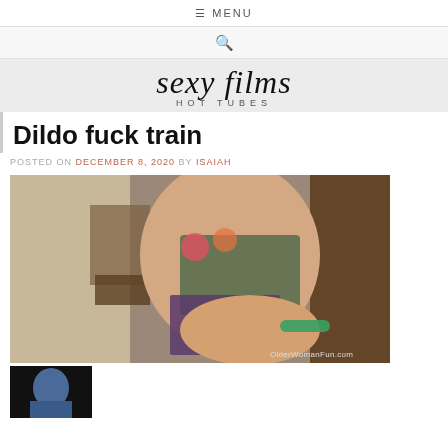≡ MENU
🔍
sexy films HOT TUBES
Dildo fuck train
POSTED ON DECEMBER 8, 2020 BY ISAIAH
[Figure (photo): Woman in floral bikini top and dark bottoms posing indoors, watermark OlderWomanFun.com]
[Figure (photo): Thumbnail image at bottom of page]